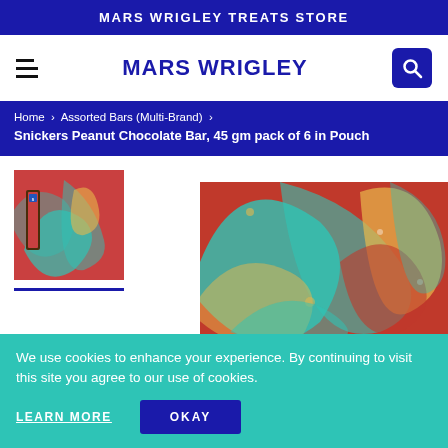MARS WRIGLEY TREATS STORE
MARS WRIGLEY
Home > Assorted Bars (Multi-Brand) > Snickers Peanut Chocolate Bar, 45 gm pack of 6 in Pouch
[Figure (photo): Thumbnail of Snickers Peanut Chocolate Bar 45gm pack of 6 in pouch, shown with paisley background design]
[Figure (photo): Large paisley pattern background image in red, teal, and yellow colors]
We use cookies to enhance your experience. By continuing to visit this site you agree to our use of cookies.
LEARN MORE
OKAY